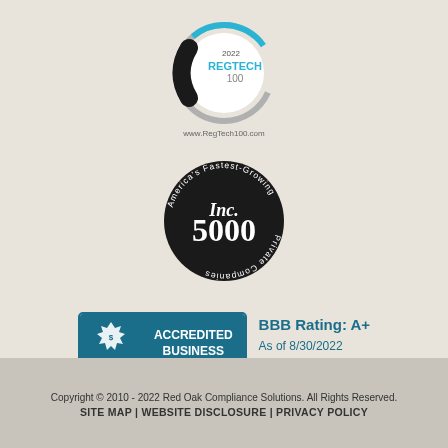[Figure (logo): RegTech 100 2022 circular logo with blue arc and text www.RegTech100.com]
[Figure (logo): Inc. 5000 America's Fastest-Growing Private Companies circular black logo]
[Figure (logo): BBB Accredited Business badge with teal background and BBB Rating A+ as of 8/30/2022, Click for Profile]
Copyright © 2010 - 2022 Red Oak Compliance Solutions. All Rights Reserved.
SITE MAP | WEBSITE DISCLOSURE | PRIVACY POLICY